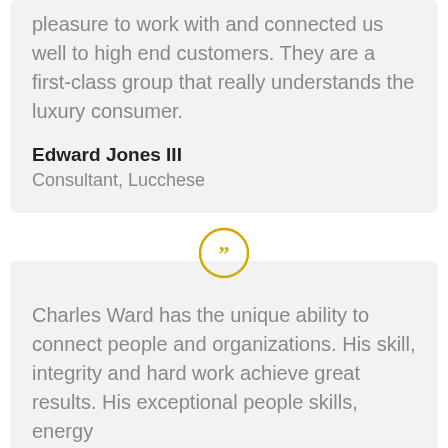pleasure to work with and connected us well to high end customers. They are a first-class group that really understands the luxury consumer.
Edward Jones III
Consultant, Lucchese
[Figure (illustration): Yellow circular quote mark icon with double closing quotation marks]
Charles Ward has the unique ability to connect people and organizations. His skill, integrity and hard work achieve great results. His exceptional people skills, energy